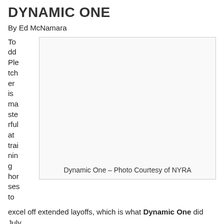DYNAMIC ONE
By Ed McNamara
Todd Pletcher is masterful at training horses to
[Figure (photo): Photo placeholder with caption: Dynamic One – Photo Courtesy of NYRA]
Dynamic One – Photo Courtesy of NYRA
excel off extended layoffs, which is what Dynamic One did July